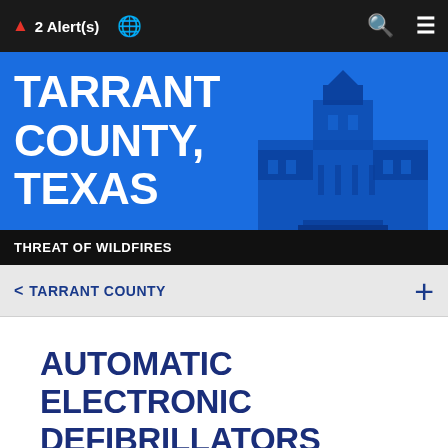2 Alert(s)
[Figure (screenshot): Tarrant County Texas government website banner with blue background and courthouse building image]
THREAT OF WILDFIRES
< TARRANT COUNTY
AUTOMATIC ELECTRONIC DEFIBRILLATORS (AEDS)
Locations > Automatic Electronic Defibrillators (AEDs)